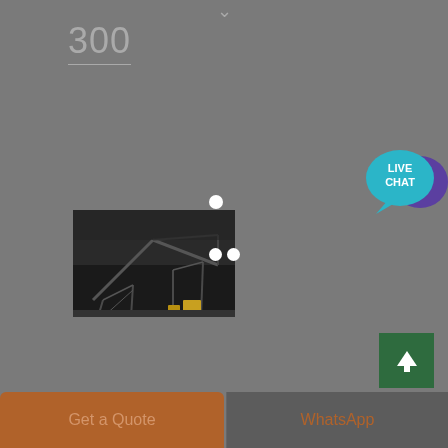300
[Figure (illustration): Live Chat speech bubble icon with cyan/blue colors and text LIVE CHAT]
[Figure (photo): Black and white industrial photo showing a large mining or construction conveyor/crane structure]
[Figure (infographic): Green scroll-to-top button with upward arrow]
Get a Quote
WhatsApp